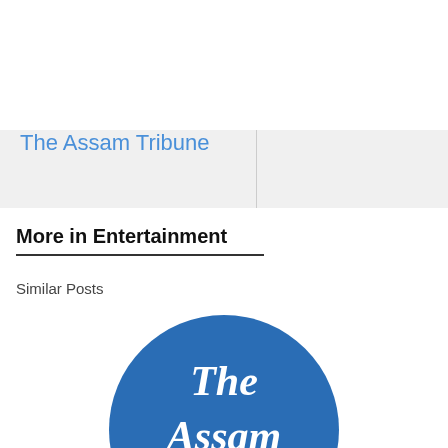The Assam Tribune
More in Entertainment
Similar Posts
[Figure (logo): The Assam Tribune circular logo — blue circle with white blackletter text reading 'The Assam Tribune']